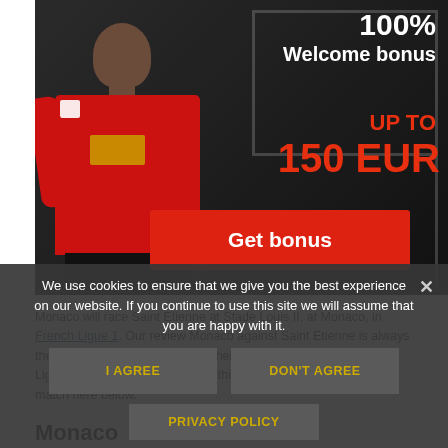[Figure (illustration): Sports betting advertisement banner showing a Manchester United footballer in red jersey. Text reads '100% Welcome bonus UP TO 150 EUR' with a red 'Get bonus' button. Dark background with stadium imagery.]
Monaco will race Saint Etienne at Stade Louis II, at Monaco, in French Ligue 1. Our review Monaco against Saint Etienne is always the match with big interest after their previous matches in French Ligue 1. Review our thoughts on this Monaco vs Saint Etienne match here below.
We use cookies to ensure that we give you the best experience on our website. If you continue to use this site we will assume that you are happy with it.
I AGREE
DON'T AGREE
PRIVACY POLICY
Monaco